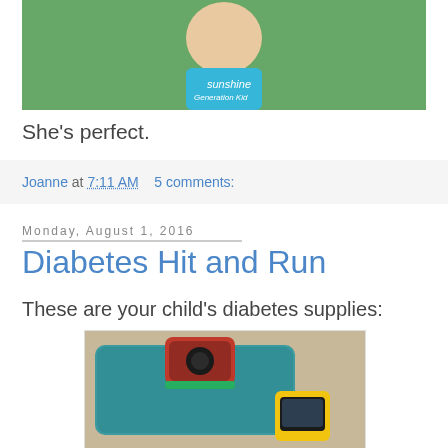[Figure (photo): Photo of a child wearing a blue 'Sunshine Generation Kid' t-shirt]
She's perfect.
Joanne at 7:11 AM    5 comments:
Monday, August 1, 2016
Diabetes Hit and Run
These are your child's diabetes supplies:
[Figure (photo): Photo of a teal diabetes supply bag with a red glucose meter and a yellow CGM device on top]